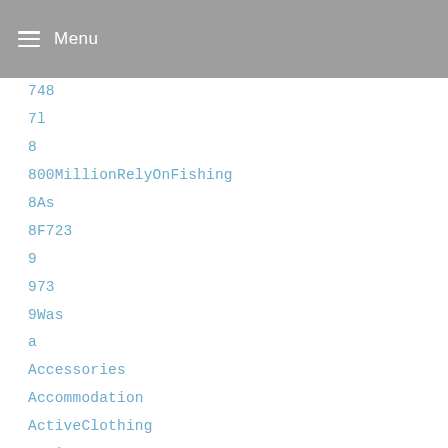Menu
748
7l
8
800MillionRelyOnFishing
8As
8F723
9
973
9Was
a
Accessories
Accommodation
ActiveClothing
ActiveDryYeast
Activewear
Activism
AD